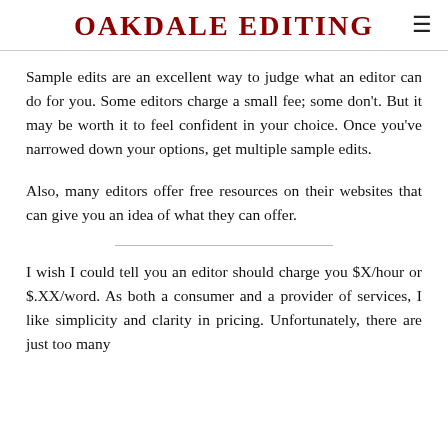OAKDALE EDITING
Sample edits are an excellent way to judge what an editor can do for you. Some editors charge a small fee; some don't. But it may be worth it to feel confident in your choice. Once you've narrowed down your options, get multiple sample edits.
Also, many editors offer free resources on their websites that can give you an idea of what they can offer.
I wish I could tell you an editor should charge you $X/hour or $.XX/word. As both a consumer and a provider of services, I like simplicity and clarity in pricing. Unfortunately, there are just too many